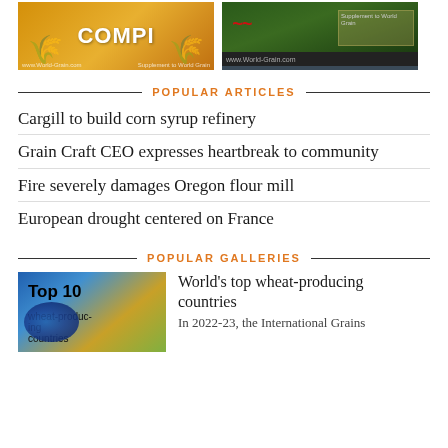[Figure (photo): Two magazine/publication cover thumbnails side by side: left is a golden/yellow grain publication cover, right is a dark agricultural photo cover]
POPULAR ARTICLES
Cargill to build corn syrup refinery
Grain Craft CEO expresses heartbreak to community
Fire severely damages Oregon flour mill
European drought centered on France
POPULAR GALLERIES
[Figure (photo): Thumbnail image for gallery: Top 10 wheat-producing countries, showing globe and wheat imagery]
World’s top wheat-producing countries
In 2022-23, the International Grains